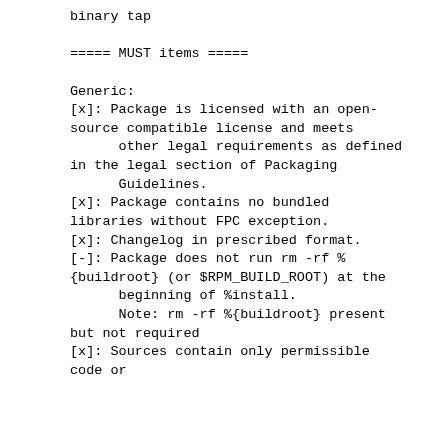binary tap
===== MUST items =====
Generic:
[x]: Package is licensed with an open-source compatible license and meets
      other legal requirements as defined in the legal section of Packaging
      Guidelines.
[x]: Package contains no bundled libraries without FPC exception.
[x]: Changelog in prescribed format.
[-]: Package does not run rm -rf %{buildroot} (or $RPM_BUILD_ROOT) at the
      beginning of %install.
      Note: rm -rf %{buildroot} present but not required
[x]: Sources contain only permissible code or